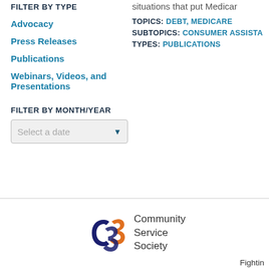FILTER BY TYPE
Advocacy
Press Releases
Publications
Webinars, Videos, and Presentations
FILTER BY MONTH/YEAR
Select a date
situations that put Medicar
TOPICS: DEBT, MEDICARE
SUBTOPICS: CONSUMER ASSISTA
TYPES: PUBLICATIONS
[Figure (logo): Community Service Society (CSS) logo with orange and purple CSS letters and organization name]
Fightin
This site